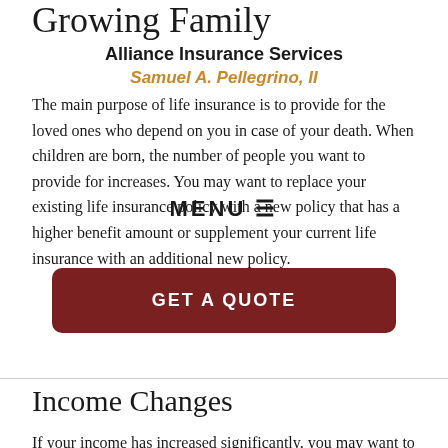Growing Family
Alliance Insurance Services
Samuel A. Pellegrino, II
The main purpose of life insurance is to provide for the loved ones who depend on you in case of your death. When children are born, the number of people you want to provide for increases. You may want to replace your existing life insurance policy with a new policy that has a higher benefit amount or supplement your current life insurance with an additional new policy.
Income Changes
If your income has increased significantly, you may want to buy more life insurance to ensure the death benefits are sufficient to replace your income after your passing.